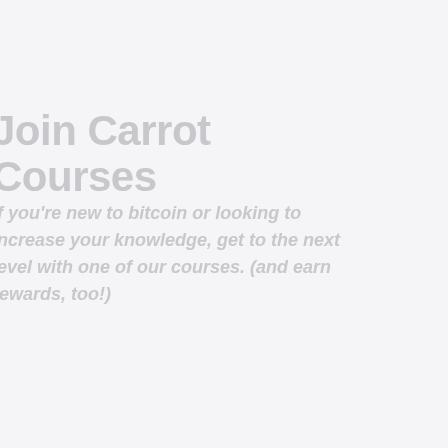Join Carrot Courses
If you're new to bitcoin or looking to increase your knowledge, get to the next level with one of our courses. (and earn rewards, too!)
[Figure (screenshot): Screenshot of Carrot Courses website interface showing a browser window with a URL bar, and content area displaying 'Carrot Courses' title with subtitle text and a carrot illustration]